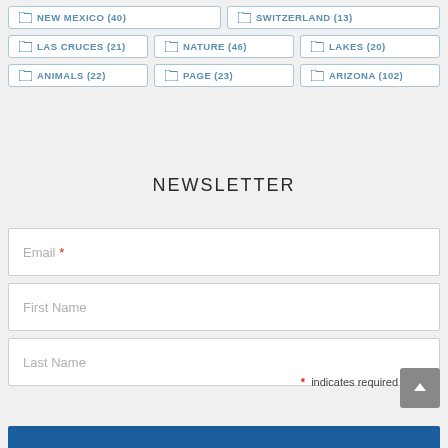NEW MEXICO (40)
SWITZERLAND (13)
LAS CRUCES (21)
NATURE (46)
LAKES (20)
ANIMALS (22)
PAGE (23)
ARIZONA (102)
NEWSLETTER
Email *
First Name
Last Name
* indicates required